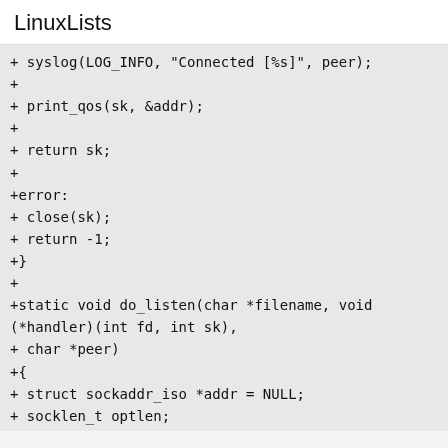LinuxLists
+ syslog(LOG_INFO, "Connected [%s]", peer);
+
+ print_qos(sk, &addr);
+
+ return sk;
+
+error:
+ close(sk);
+ return -1;
+}
+
+static void do_listen(char *filename, void (*handler)(int fd, int sk),
+ char *peer)
+{
+ struct sockaddr_iso *addr = NULL;
+ socklen_t optlen;